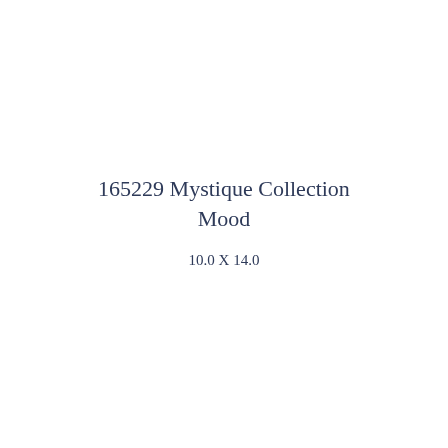165229 Mystique Collection Mood
10.0 X 14.0